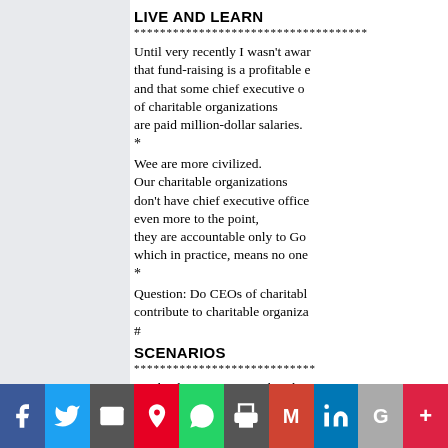LIVE AND LEARN
************************************
Until very recently I wasn't aware that fund-raising is a profitable e and that some chief executive o of charitable organizations are paid million-dollar salaries.
*
Wee are more civilized. Our charitable organizations don't have chief executive office even more to the point, they are accountable only to Go which in practice, means no one
*
Question: Do CEOs of charitabl contribute to charitable organiza #
SCENARIOS
****************************
On the day Azeris open their bo we will bleed from three open w East, West, and North.
*
At the present rate of exodus, they will not have to fight us to reoccupy their lands.